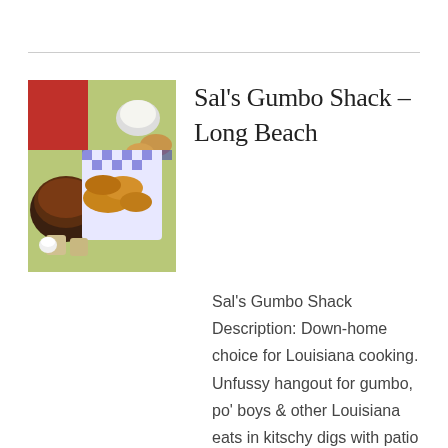[Figure (photo): Overhead shot of a table with Louisiana food including gumbo in a bowl, fried items in a checkered paper-lined basket, small condiment cups, and bread rolls on a green table.]
Sal's Gumbo Shack – Long Beach
Sal's Gumbo Shack Description: Down-home choice for Louisiana cooking. Unfussy hangout for gumbo, po' boys & other Louisiana eats in kitschy digs with patio tables. Address: 6148 Long Beach Blvd W, Long Beach, CA 90805, United States